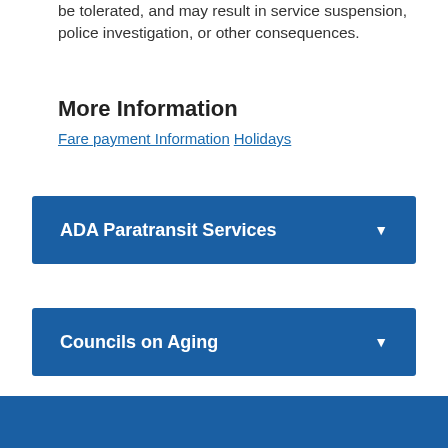be tolerated, and may result in service suspension, police investigation, or other consequences.
More Information
Fare payment Information  Holidays
ADA Paratransit Services
Councils on Aging